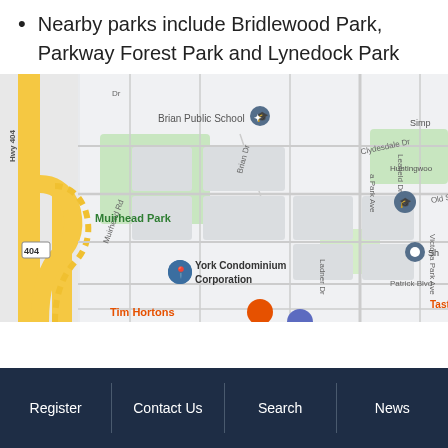Nearby parks include Bridlewood Park, Parkway Forest Park and Lynedock Park
[Figure (map): Google Maps screenshot showing local area including Brian Public School, St. Gerald Catholic School, Muirhead Park, York Condominium Corporation, Tim Hortons, Winners, and nearby streets such as Clydesdale Dr, Old Sheppard Ave, Patrick Blvd, Hickorynut Dr, with HWY 404 on the left side.]
Register | Contact Us | Search | News